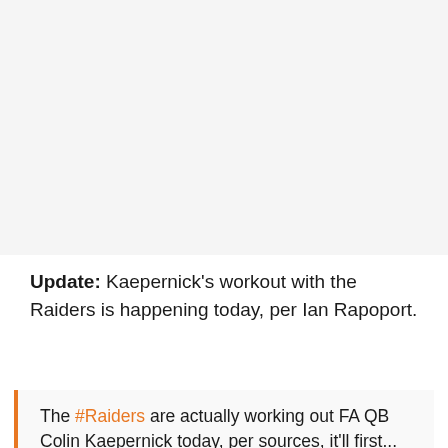[Figure (photo): Large image placeholder area at the top of the page, light gray background]
Update: Kaepernick's workout with the Raiders is happening today, per Ian Rapoport.
The #Raiders are actually working out FA QB Colin Kaepernick today, per sources, it'll first...